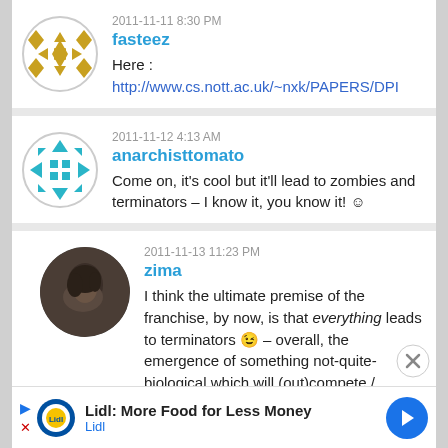[Figure (illustration): Gold geometric snowflake/quilt pattern avatar for user fasteez]
2011-11-11 8:30 PM
fasteez
Here :
http://www.cs.nott.ac.uk/~nxk/PAPERS/DPI
[Figure (illustration): Teal/turquoise geometric diamond pattern avatar for user anarchisttomato]
2011-11-12 4:13 AM
anarchisttomato
Come on, it's cool but it'll lead to zombies and terminators – I know it, you know it! 😊
[Figure (photo): Dark photo of a person with dark hair, avatar for user zima]
2011-11-13 11:23 PM
zima
I think the ultimate premise of the franchise, by now, is that everything leads to terminators 😉 – overall, the emergence of something not-quite-biological which will (out)compete /
Lidl: More Food for Less Money
Lidl